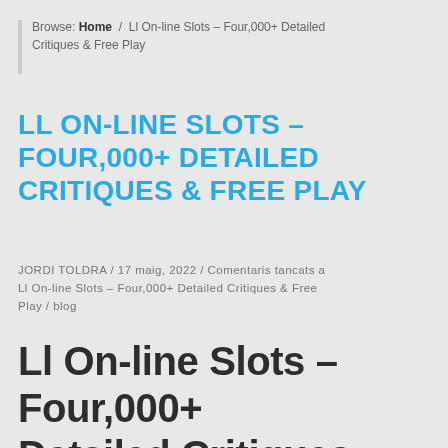Browse: Home / Ll On-line Slots â Four,000+ Detailed Critiques & Free Play
LL ON-LINE SLOTS – FOUR,000+ DETAILED CRITIQUES & FREE PLAY
JORDI TOLDRA / 17 maig, 2022 / Comentaris tancats a Ll On-line Slots – Four,000+ Detailed Critiques & Free Play / blog
Ll On-line Slots – Four,000+ Detailed Critiques & Free Play